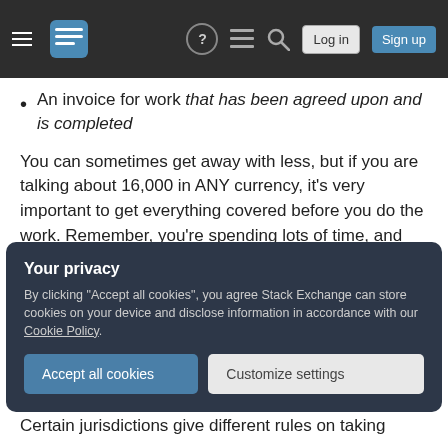Stack Exchange header with hamburger menu, logo, help, chat, search icons, Log in and Sign up buttons
An invoice for work that has been agreed upon and is completed
You can sometimes get away with less, but if you are talking about 16,000 in ANY currency, it's very important to get everything covered before you do the work. Remember, you're spending lots of time, and they currently can just walk away!
Does your email mention anything about what happens if they don't like the design? Are they
Your privacy
By clicking "Accept all cookies", you agree Stack Exchange can store cookies on your device and disclose information in accordance with our Cookie Policy.
Accept all cookies   Customize settings
Certain jurisdictions give different rules on taking